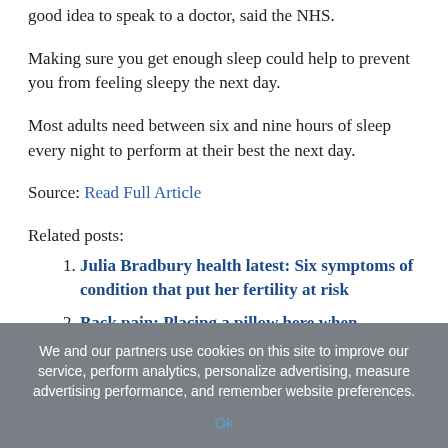good idea to speak to a doctor, said the NHS.
Making sure you get enough sleep could help to prevent you from feeling sleepy the next day.
Most adults need between six and nine hours of sleep every night to perform at their best the next day.
Source: Read Full Article
Related posts:
Julia Bradbury health latest: Six symptoms of condition that put her fertility at risk
Back pain: Placing a pillow here when sleeping can help improve pain in back
Fibromyalgia warning – the burning feeling you
We and our partners use cookies on this site to improve our service, perform analytics, personalize advertising, measure advertising performance, and remember website preferences.
Ok